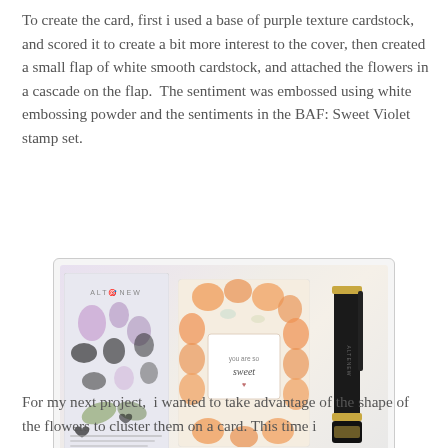To create the card, first i used a base of purple texture cardstock, and scored it to create a bit more interest to the cover, then created a small flap of white smooth cardstock, and attached the flowers in a cascade on the flap.  The sentiment was embossed using white embossing powder and the sentiments in the BAF: Sweet Violet stamp set.
[Figure (photo): Photo showing an Altenew stamp set with purple flower stamps, an orange floral card with a sentiment frame reading 'you are so sweet', and black marker pens with gold tips. Footer reads: ALTENEW | Guest Designer | Nathalie DeSousa]
For my next project,  i wanted to take advantage of the shape of the flowers to cluster them on a card. This time i